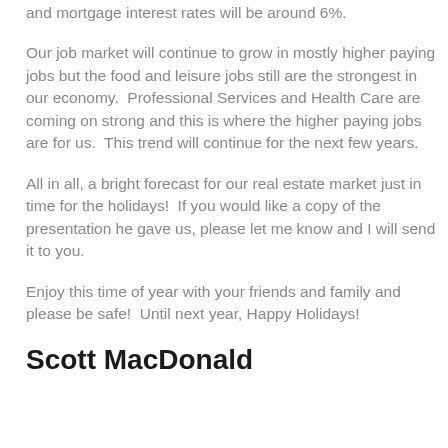and mortgage interest rates will be around 6%.
Our job market will continue to grow in mostly higher paying jobs but the food and leisure jobs still are the strongest in our economy.  Professional Services and Health Care are coming on strong and this is where the higher paying jobs are for us.  This trend will continue for the next few years.
All in all, a bright forecast for our real estate market just in time for the holidays!  If you would like a copy of the presentation he gave us, please let me know and I will send it to you.
Enjoy this time of year with your friends and family and please be safe!  Until next year, Happy Holidays!
Scott MacDonald